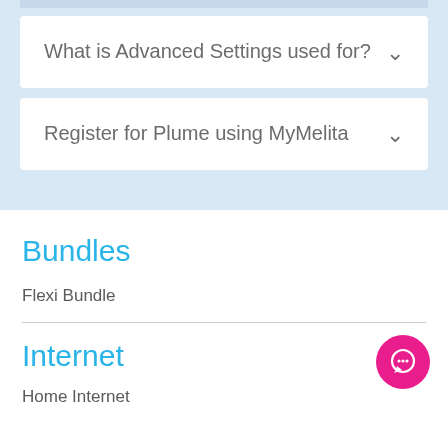What is Advanced Settings used for?
Register for Plume using MyMelita
Bundles
Flexi Bundle
Internet
Home Internet